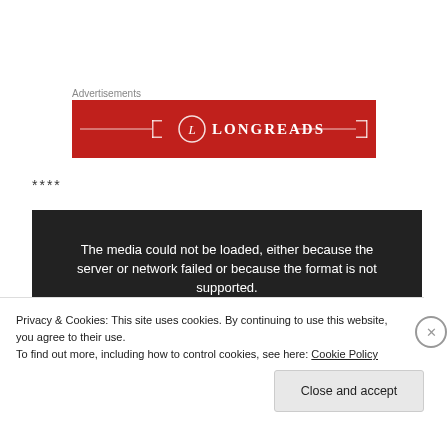Advertisements
[Figure (logo): Longreads red banner advertisement with logo: circle containing letter L, text LONGREADS, decorative horizontal lines and brackets on red background]
****
[Figure (screenshot): Dark video player error message: 'The media could not be loaded, either because the server or network failed or because the format is not supported.']
Privacy & Cookies: This site uses cookies. By continuing to use this website, you agree to their use.
To find out more, including how to control cookies, see here: Cookie Policy
Close and accept